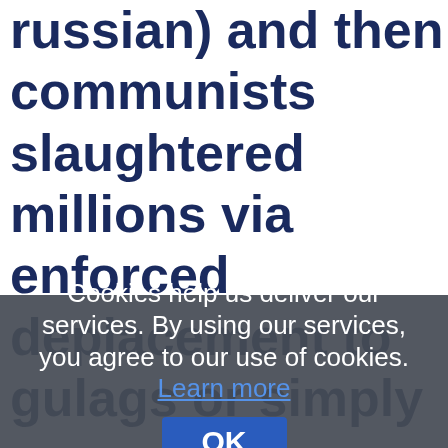russian) and then communists slaughtered millions via enforced deplacement to gulags or simply summary execution with bullets
Cookies help us deliver our services. By using our services, you agree to our use of cookies. Learn more  OK